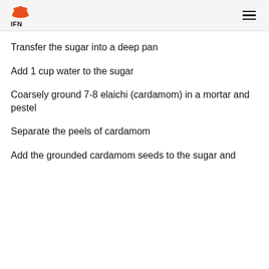IFN
Transfer the sugar into a deep pan
Add 1 cup water to the sugar
Coarsely ground 7-8 elaichi (cardamom) in a mortar and pestel
Separate the peels of cardamom
Add the grounded cardamom seeds to the sugar and